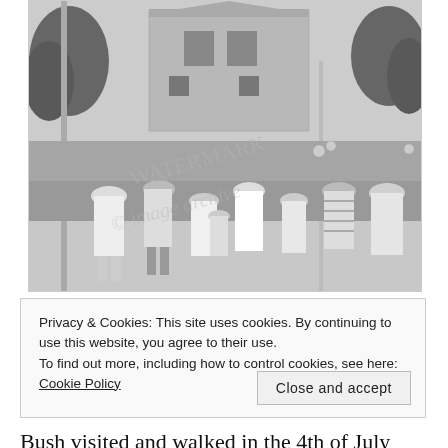[Figure (photo): Black and white photograph of a large crowd of people at what appears to be a 4th of July parade on a city street. People are seen from behind walking down the street, with buildings and trees visible in the background. A watermark is visible over the image.]
Privacy & Cookies: This site uses cookies. By continuing to use this website, you agree to their use.
To find out more, including how to control cookies, see here: Cookie Policy
Close and accept
Bush visited and walked in the 4th of July Parade. (Bill